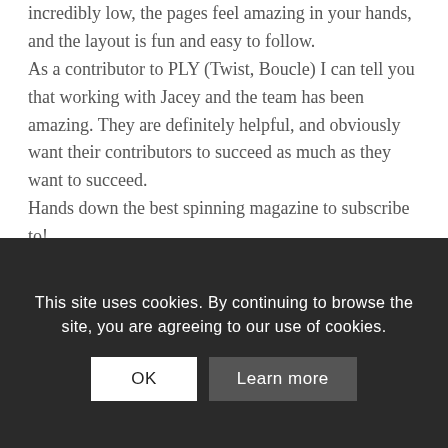incredibly low, the pages feel amazing in your hands, and the layout is fun and easy to follow. As a contributor to PLY (Twist, Boucle) I can tell you that working with Jacey and the team has been amazing. They are definitely helpful, and obviously want their contributors to succeed as much as they want to succeed. Hands down the best spinning magazine to subscribe to! -Kara Perpelitz
Reply
This site uses cookies. By continuing to browse the site, you are agreeing to our use of cookies.
OK
Learn more
Th... first time I've seen your m... love what I've se...n so far, looking forward to see what's next